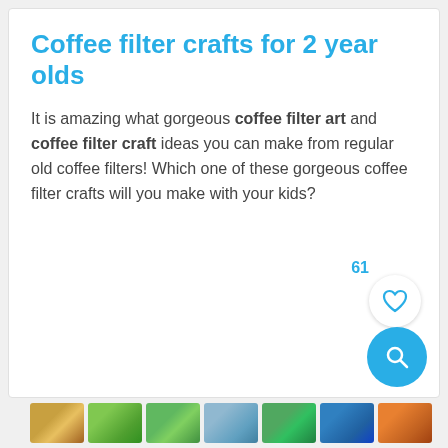Coffee filter crafts for 2 year olds
It is amazing what gorgeous coffee filter art and coffee filter craft ideas you can make from regular old coffee filters! Which one of these gorgeous coffee filter crafts will you make with your kids?
[Figure (screenshot): Thumbnail strip of craft images at the bottom of the page]